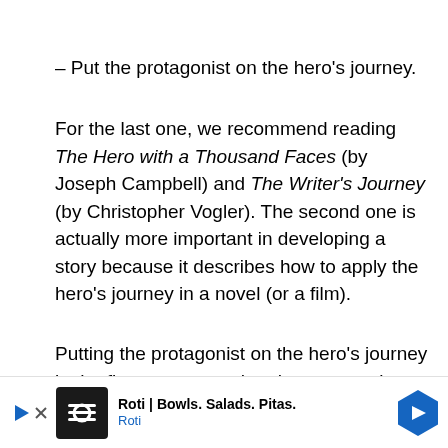– Put the protagonist on the hero's journey.
For the last one, we recommend reading The Hero with a Thousand Faces (by Joseph Campbell) and The Writer's Journey (by Christopher Vogler). The second one is actually more important in developing a story because it describes how to apply the hero's journey in a novel (or a film).
Putting the protagonist on the hero's journey in the first act means that the protagonist will go through these stages: ordinary world, receiving the call for adventure, resisti... ...ation where... ...he